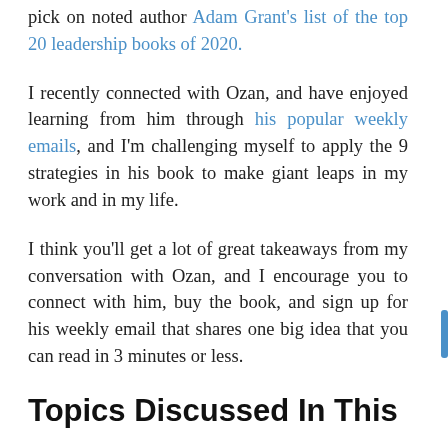pick on noted author Adam Grant's list of the top 20 leadership books of 2020.
I recently connected with Ozan, and have enjoyed learning from him through his popular weekly emails, and I'm challenging myself to apply the 9 strategies in his book to make giant leaps in my work and in my life.
I think you'll get a lot of great takeaways from my conversation with Ozan, and I encourage you to connect with him, buy the book, and sign up for his weekly email that shares one big idea that you can read in 3 minutes or less.
Topics Discussed In This